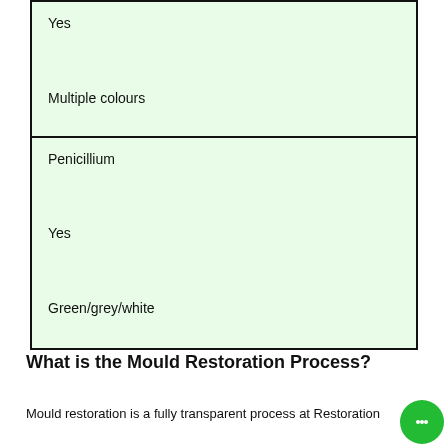| Yes | Multiple colours |
| Penicillium | Yes | Green/grey/white |
What is the Mould Restoration Process?
Mould restoration is a fully transparent process at Restoration